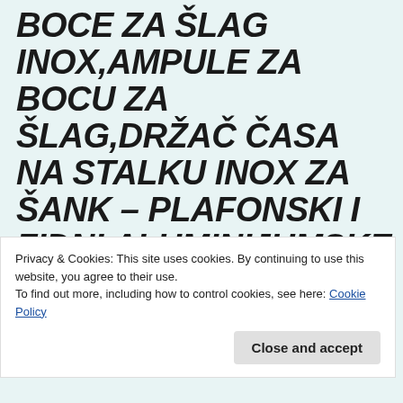BOCE ZA ŠLAG INOX,AMPULE ZA BOCU ZA ŠLAG,DRŽAČ ČASA NA STALKU INOX ZA ŠANK – PLAFONSKI I ZIDNI,ALUMINIJUMSKE
Privacy & Cookies: This site uses cookies. By continuing to use this website, you agree to their use. To find out more, including how to control cookies, see here: Cookie Policy
Close and accept